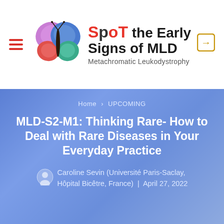[Figure (logo): SPOT the Early Signs of MLD - Metachromatic Leukodystrophy website header logo with colorful butterfly graphic and red/black wordmark]
Home › UPCOMING
MLD-S2-M1: Thinking Rare- How to Deal with Rare Diseases in Your Everyday Practice
Caroline Sevin (Université Paris-Saclay, Hôpital Bicêtre, France)  |  April 27, 2022